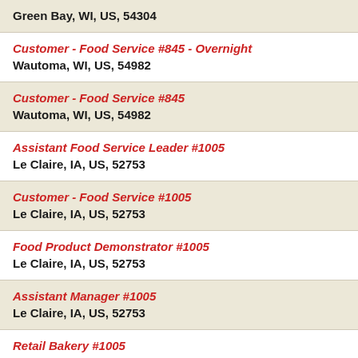Green Bay, WI, US, 54304
Customer - Food Service #845 - Overnight
Wautoma, WI, US, 54982
Customer - Food Service #845
Wautoma, WI, US, 54982
Assistant Food Service Leader #1005
Le Claire, IA, US, 52753
Customer - Food Service #1005
Le Claire, IA, US, 52753
Food Product Demonstrator #1005
Le Claire, IA, US, 52753
Assistant Manager #1005
Le Claire, IA, US, 52753
Retail Bakery #1005
Le Claire, IA, US, 52753